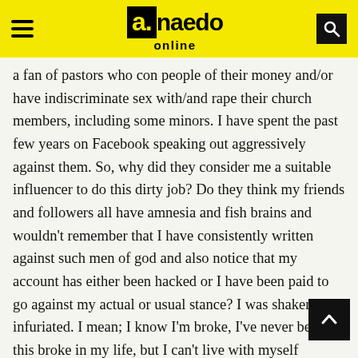a.naedo online
a fan of pastors who con people of their money and/or have indiscriminate sex with/and rape their church members, including some minors. I have spent the past few years on Facebook speaking out aggressively against them. So, why did they consider me a suitable influencer to do this dirty job? Do they think my friends and followers all have amnesia and fish brains and wouldn't remember that I have consistently written against such men of god and also notice that my account has either been hacked or I have been paid to go against my actual or usual stance? I was shaken and infuriated. I mean; I know I'm broke, I've never been this broke in my life, but I can't live with myself accepting money to defend a serial rapist, even though still alleged.